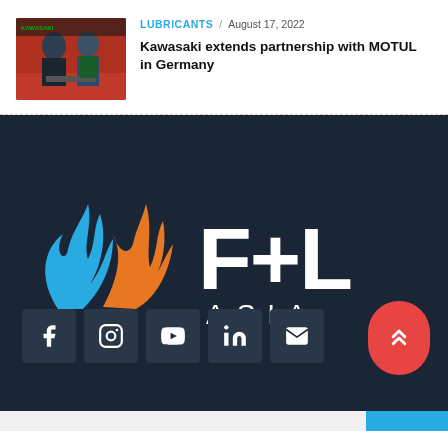[Figure (photo): Two people at a Kawasaki branded event, one in green Kawasaki racing attire]
LUBRICANTS / August 17, 2022
Kawasaki extends partnership with MOTUL in Germany
[Figure (logo): F+L Asia logo with blue and orange flame shapes on dark navy background]
[Figure (infographic): Social media icons row: Facebook, Instagram, YouTube, LinkedIn, Email on dark background, with red scroll-to-top button]